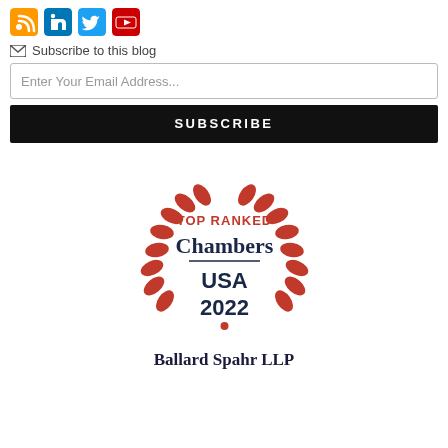[Figure (other): Social media icons: RSS (orange), LinkedIn (blue), Twitter (cyan), YouTube (red)]
Subscribe to this blog
Enter Your Email Address...
SUBSCRIBE
[Figure (logo): Chambers USA 2022 Top Ranked badge with red laurel wreath. Text: TOP RANKED, Chambers, USA, 2022]
Ballard Spahr LLP